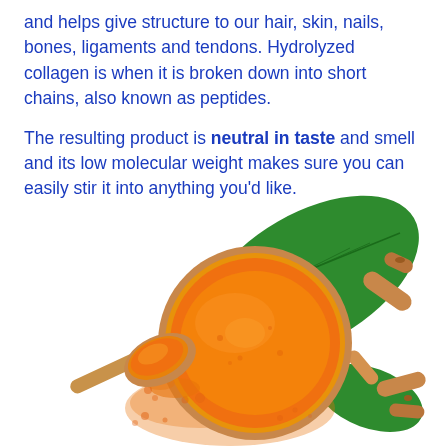and helps give structure to our hair, skin, nails, bones, ligaments and tendons. Hydrolyzed collagen is when it is broken down into short chains, also known as peptides.
The resulting product is neutral in taste and smell and its low molecular weight makes sure you can easily stir it into anything you'd like.
[Figure (photo): Photo of turmeric powder in a wooden bowl on a large green leaf, with a wooden spoon of turmeric powder to the left and turmeric root pieces to the right, on a white background.]